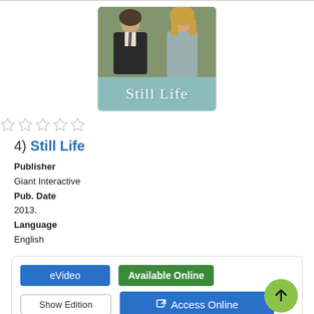[Figure (photo): Movie cover image for 'Still Life' showing two people (a man in dark suit on the left, a woman with blonde hair on the right) with a teal banner at the bottom reading 'Still Life']
[Figure (other): Five empty star rating icons]
4) Still Life
Publisher
Giant Interactive
Pub. Date
2013.
Language
English
eVideo | Available Online | Show Edition | Access Online
Description